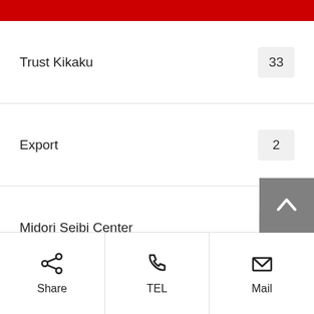Trust Kikaku
Export
Midori Seibi Center
eBay
Vehicle Import
TK GT CARS
GT-R
Share | TEL | Mail